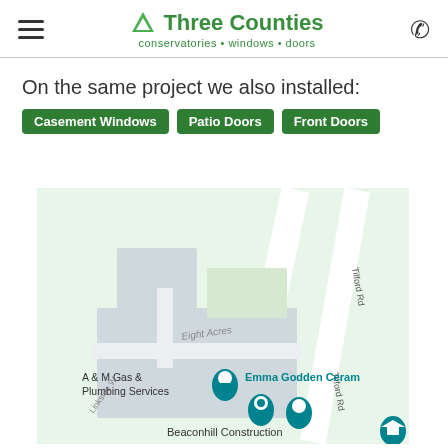Three Counties — conservatories • windows • doors
On the same project we also installed:
Casement Windows
Patio Doors
Front Doors
[Figure (map): Google Maps screenshot showing the area around Eight Acres, Tilford Rd, with markers for A & M Gas & Plumbing Services, Emma Godden Ceramics, Beaconhill Construction, and Linkside W.]